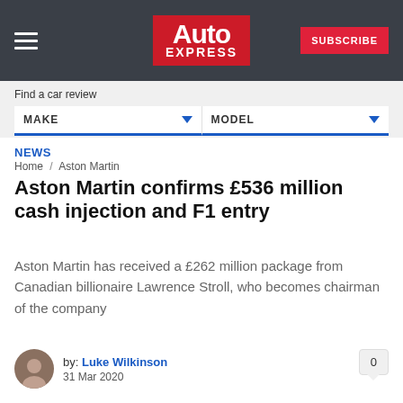Auto Express — SUBSCRIBE
Find a car review
MAKE   MODEL
NEWS
Home / Aston Martin
Aston Martin confirms £536 million cash injection and F1 entry
Aston Martin has received a £262 million package from Canadian billionaire Lawrence Stroll, who becomes chairman of the company
by: Luke Wilkinson
31 Mar 2020